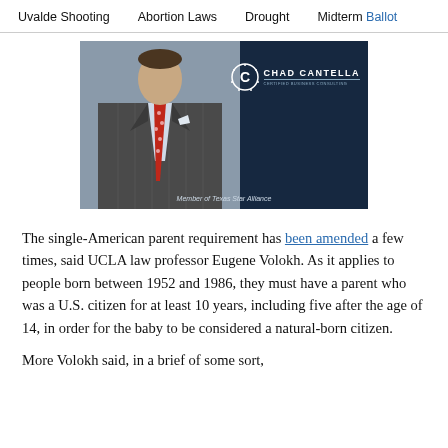Uvalde Shooting   Abortion Laws   Drought   Midterm Ballot
[Figure (photo): Man in dark pinstripe suit with red polka-dot tie, Chad Cantella logo with text 'Member of Texas Star Alliance' overlaid on dark blue background]
The single-American parent requirement has been amended a few times, said UCLA law professor Eugene Volokh. As it applies to people born between 1952 and 1986, they must have a parent who was a U.S. citizen for at least 10 years, including five after the age of 14, in order for the baby to be considered a natural-born citizen.
More Volokh said, in a brief of some sort,